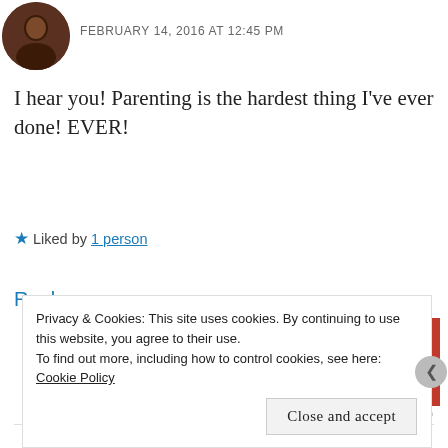[Figure (photo): Small circular avatar photo of a person with dark hair]
FEBRUARY 14, 2016 AT 12:45 PM
I hear you! Parenting is the hardest thing I've ever done! EVER!
★ Liked by 1 person
Reply
[Figure (advertisement): Longreads ad: red background with logo and tagline 'The best stories on the web – ours, and everyone else's.']
REPORT THIS AD
Privacy & Cookies: This site uses cookies. By continuing to use this website, you agree to their use.
To find out more, including how to control cookies, see here: Cookie Policy
Close and accept